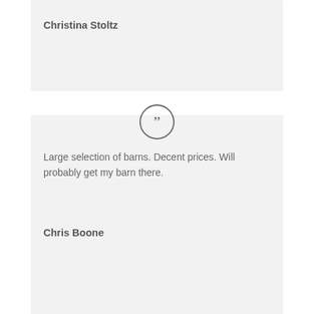Christina Stoltz
[Figure (illustration): Quotation mark icon inside a circle, gray outline style]
Large selection of barns. Decent prices. Will probably get my barn there.
Chris Boone
[Figure (illustration): Quotation mark icon inside a circle, gray outline style]
Awesome everything!!! Great quality products, great price, & great service! Bought a large 14×32 shed that I love and look forward to getting some poly furniture soon!!!
Darla Shilts